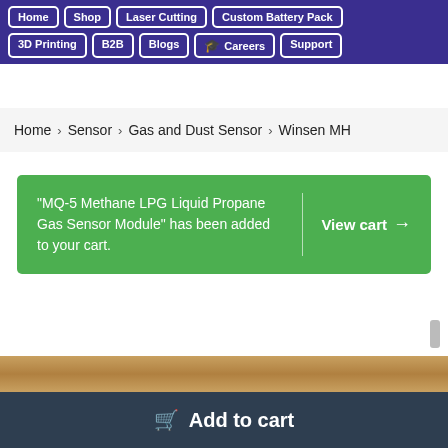Home | Shop | Laser Cutting | Custom Battery Pack | 3D Printing | B2B | Blogs | Careers | Support
Home > Sensor > Gas and Dust Sensor > Winsen MH
"MQ-5 Methane LPG Liquid Propane Gas Sensor Module" has been added to your cart. View cart →
Add to cart